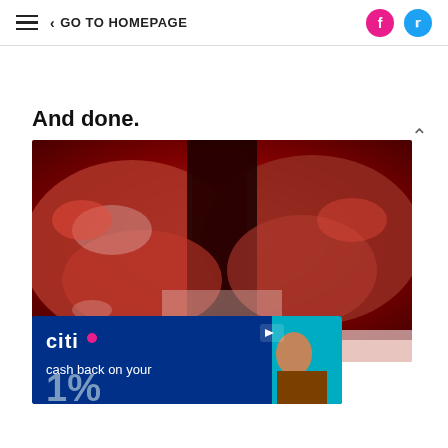GO TO HOMEPAGE
And done.
[Figure (photo): Close-up photo of cooked BBQ ribs being pulled apart, showing dark charred exterior and red meat interior on a pink/white surface]
[Figure (photo): Citi credit card advertisement banner with dark blue background showing Citi logo and 'cash back on your' text with a percentage number partially visible]